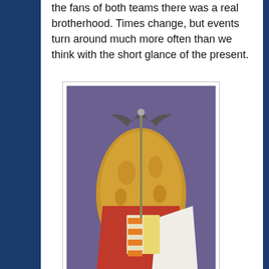the fans of both teams there was a real brotherhood. Times change, but events turn around much more often than we think with the short glance of the present.
[Figure (photo): Photograph of the primitive logo of València C.F., showing an embroidered banner or garment with a bat at the top and the Valencian coat of arms.]
Primitive logo of València C.F.
But this changed during the Spanish transition, when the Blaverist and antinationalist forces of the Valencian Country saw in València C.F. an important